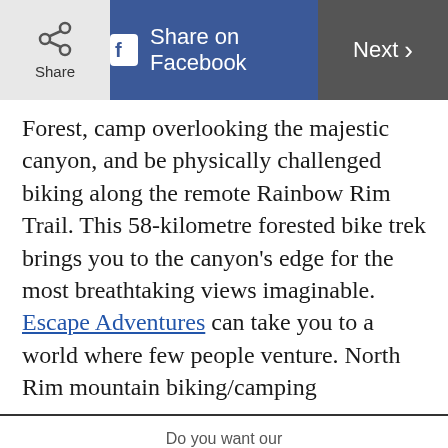Share | Share on Facebook | Next
Forest, camp overlooking the majestic canyon, and be physically challenged biking along the remote Rainbow Rim Trail. This 58-kilometre forested bike trek brings you to the canyon's edge for the most breathtaking views imaginable. Escape Adventures can take you to a world where few people venture. North Rim mountain biking/camping
Do you want our
Top stories of the day delivered to your inbox?
YES PLEASE!
NO THANKS